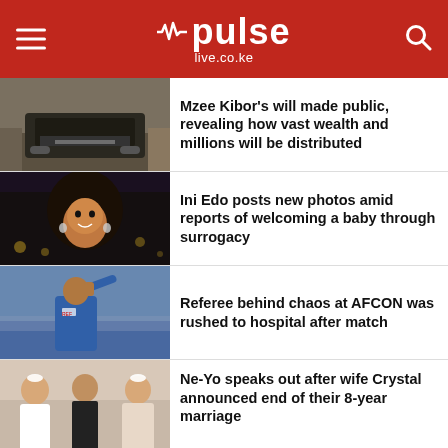pulse live.co.ke
Mzee Kibor's will made public, revealing how vast wealth and millions will be distributed
Ini Edo posts new photos amid reports of welcoming a baby through surrogacy
Referee behind chaos at AFCON was rushed to hospital after match
Ne-Yo speaks out after wife Crystal announced end of their 8-year marriage